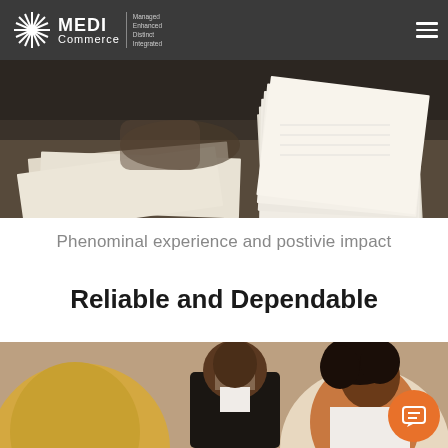MEDI Commerce — Managed Enhanced Distinct Integrated
[Figure (photo): Close-up of hands working with papers and documents stacked on a desk, with a pen or stamp, dark background]
Phenominal experience and postivie impact
Reliable and Dependable
[Figure (photo): Three business professionals in a meeting: a woman with blonde hair seen from behind, a Black man in a suit, and a Black woman smiling, with an orange chat button overlay in the lower right]